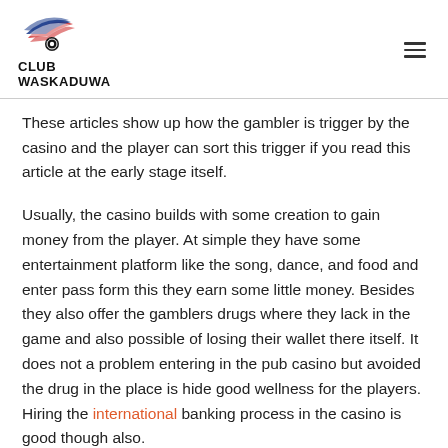CLUB WASKADUWA
These articles show up how the gambler is trigger by the casino and the player can sort this trigger if you read this article at the early stage itself.
Usually, the casino builds with some creation to gain money from the player. At simple they have some entertainment platform like the song, dance, and food and enter pass form this they earn some little money. Besides they also offer the gamblers drugs where they lack in the game and also possible of losing their wallet there itself. It does not a problem entering in the pub casino but avoided the drug in the place is hide good wellness for the players. Hiring the international banking process in the casino is good though also.